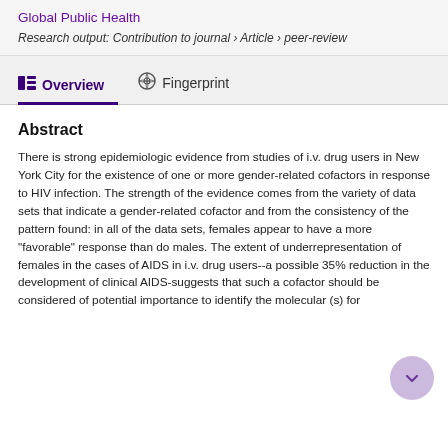Global Public Health
Research output: Contribution to journal › Article › peer-review
Overview
Fingerprint
Abstract
There is strong epidemiologic evidence from studies of i.v. drug users in New York City for the existence of one or more gender-related cofactors in response to HIV infection. The strength of the evidence comes from the variety of data sets that indicate a gender-related cofactor and from the consistency of the pattern found: in all of the data sets, females appear to have a more "favorable" response than do males. The extent of underrepresentation of females in the cases of AIDS in i.v. drug users--a possible 35% reduction in the development of clinical AIDS-suggests that such a cofactor should be considered of potential importance to identify the molecular (s) for...